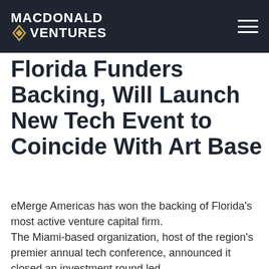MACDONALD VENTURES
Florida Funders Backing, Will Launch New Tech Event to Coincide With Art Base
eMerge Americas has won the backing of Florida's most active venture capital firm.
The Miami-based organization, host of the region's premier annual tech conference, announced it closed an investment round led